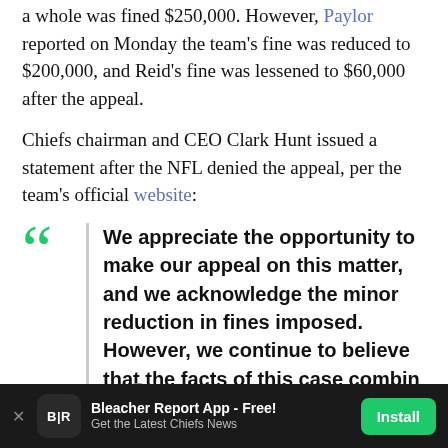a whole was fined $250,000. However, Paylor reported on Monday the team's fine was reduced to $200,000, and Reid's fine was lessened to $60,000 after the appeal.
Chiefs chairman and CEO Clark Hunt issued a statement after the NFL denied the appeal, per the team's official website:
"We appreciate the opportunity to make our appeal on this matter, and we acknowledge the minor reduction in fines imposed. However, we continue to believe that the facts of this case combined with the league's inconsistent enforcement of its tampering
Bleacher Report App - Free! Get the Latest Chiefs News  Install